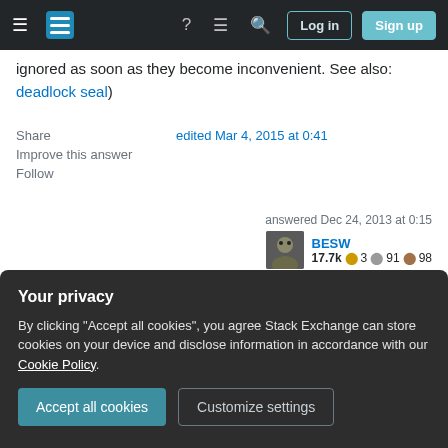Stack Exchange navigation bar with hamburger menu, logo, help, chat, search, Log in, Sign up
ignored as soon as they become inconvenient. See also: deadlock seal)
Share
Improve this answer
Follow
edited Mar 4, 2015 at 0:41
answered Dec 24, 2013 at 0:15
BESW
17.7k 🔥 3 🥈 91 🥉 98
1  It also doesn't do turkey. – Mr Lister Dec 24, 2013 at 10:36 ✏
Your privacy
By clicking "Accept all cookies", you agree Stack Exchange can store cookies on your device and disclose information in accordance with our Cookie Policy.
Accept all cookies  Customize settings
deadlocked locks as something it couldn't handle,